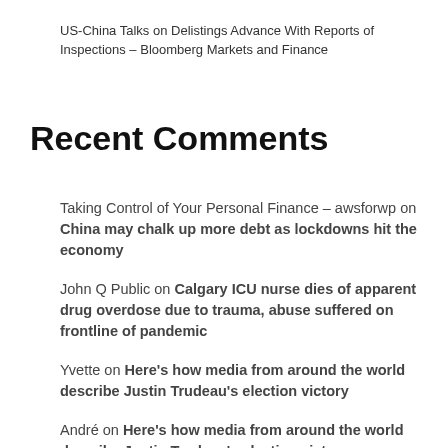US-China Talks on Delistings Advance With Reports of Inspections – Bloomberg Markets and Finance
Recent Comments
Taking Control of Your Personal Finance – awsforwp on China may chalk up more debt as lockdowns hit the economy
John Q Public on Calgary ICU nurse dies of apparent drug overdose due to trauma, abuse suffered on frontline of pandemic
Yvette on Here's how media from around the world describe Justin Trudeau's election victory
André on Here's how media from around the world describe Justin Trudeau's election victory